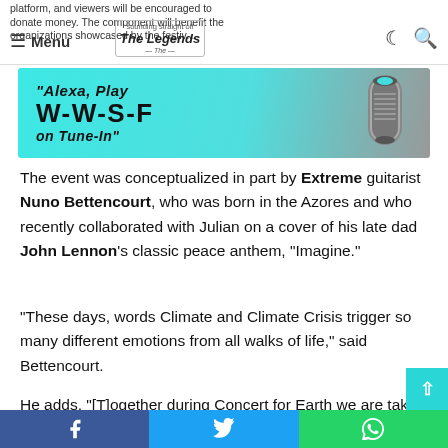platform, and viewers will be encouraged to donate money. The component will benefit the organizations showcased by the festival. Menu | The Legends | (moon icon) (search icon)
[Figure (illustration): Banner advertisement: teal/cyan background with Amazon Echo device. Text reads: "Alexa, Play W-W-S-F on Tune-In"]
The event was conceptualized in part by Extreme guitarist Nuno Bettencourt, who was born in the Azores and who recently collaborated with Julian on a cover of his late dad John Lennon's classic peace anthem, "Imagine."
"These days, words Climate and Climate Crisis trigger so many different emotions from all walks of life," said Bettencourt.
He adds, "[T]ogether during Concert for Earth we are taking
Facebook share | Twitter share | WhatsApp share